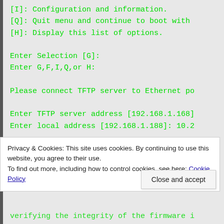[I]:  Configuration and information.
[Q]:  Quit menu and continue to boot with
[H]:  Display this list of options.

Enter Selection [G]:
Enter G,F,I,Q,or H:

Please connect TFTP server to Ethernet po

Enter TFTP server address [192.168.1.168]
Enter local address [192.168.1.188]: 10.2
Privacy & Cookies: This site uses cookies. By continuing to use this website, you agree to their use.
To find out more, including how to control cookies, see here: Cookie Policy
Close and accept
verifying the integrity of the firmware i